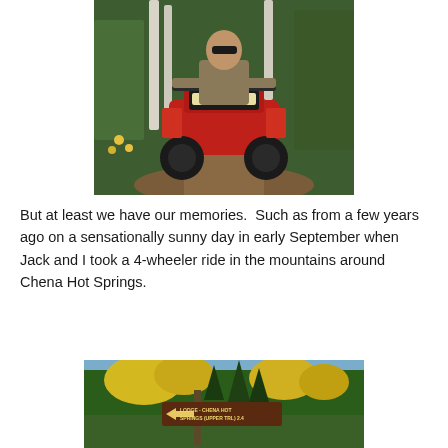[Figure (photo): A man riding a red ATV/4-wheeler on a dirt trail through a forested area with birch and evergreen trees. The rider wears sunglasses and a tan shirt.]
But at least we have our memories.  Such as from a few years ago on a sensationally sunny day in early September when Jack and I took a 4-wheeler ride in the mountains around Chena Hot Springs.
[Figure (photo): A trail sign reading 'LODGE - CHENA HOT SPRINGS (UPPER TRL) 2.4' with a directional arrow, surrounded by tall trees with autumn yellow foliage and evergreens under a blue sky.]